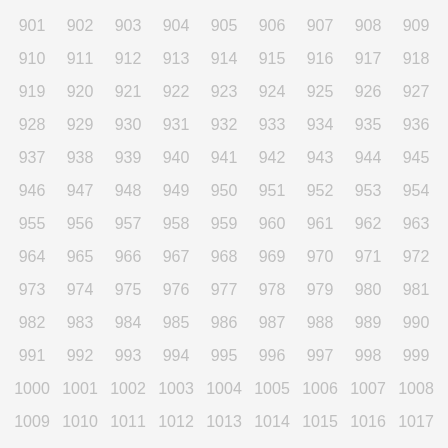| 901 | 902 | 903 | 904 | 905 | 906 | 907 | 908 | 909 |
| 910 | 911 | 912 | 913 | 914 | 915 | 916 | 917 | 918 |
| 919 | 920 | 921 | 922 | 923 | 924 | 925 | 926 | 927 |
| 928 | 929 | 930 | 931 | 932 | 933 | 934 | 935 | 936 |
| 937 | 938 | 939 | 940 | 941 | 942 | 943 | 944 | 945 |
| 946 | 947 | 948 | 949 | 950 | 951 | 952 | 953 | 954 |
| 955 | 956 | 957 | 958 | 959 | 960 | 961 | 962 | 963 |
| 964 | 965 | 966 | 967 | 968 | 969 | 970 | 971 | 972 |
| 973 | 974 | 975 | 976 | 977 | 978 | 979 | 980 | 981 |
| 982 | 983 | 984 | 985 | 986 | 987 | 988 | 989 | 990 |
| 991 | 992 | 993 | 994 | 995 | 996 | 997 | 998 | 999 |
| 1000 | 1001 | 1002 | 1003 | 1004 | 1005 | 1006 | 1007 | 1008 |
| 1009 | 1010 | 1011 | 1012 | 1013 | 1014 | 1015 | 1016 | 1017 |